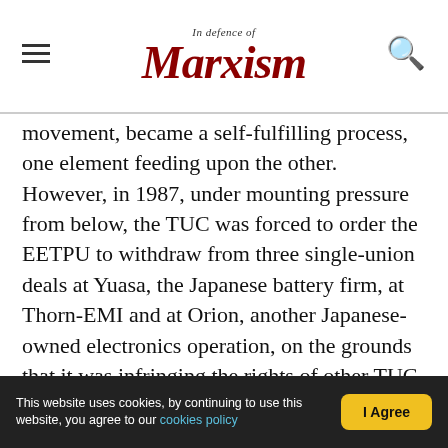In Defence of Marxism
movement, became a self-fulfilling process, one element feeding upon the other. However, in 1987, under mounting pressure from below, the TUC was forced to order the EETPU to withdraw from three single-union deals at Yuasa, the Japanese battery firm, at Thorn-EMI and at Orion, another Japanese-owned electronics operation, on the grounds that it was infringing the rights of other TUC affiliates.
Despite attempts to establish a Code of Practice, single-union no-strike deals remained an open sore that would eventually split the TUC. Finally, when a split with the electricians became inevitable, the
This website uses cookies, by continuing to use this website, you agree to our cookies policy | I Agree